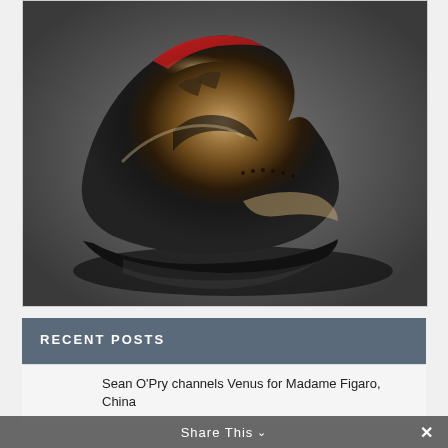[Figure (photo): A luxury leather dress shoe/boot with a bronze-golden patina finish, photographed against a dark gray background. The shoe has red interior lining visible at the top, dark laces, brogue detailing, and a black sole. High-fashion product photography.]
RECENT POSTS
[Figure (photo): Small thumbnail image of a recent post, partially visible]
Sean O'Pry channels Venus for Madame Figaro, China
Share This